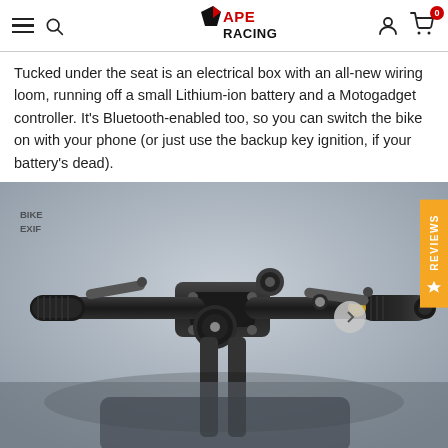Ape Racing (logo, navigation: hamburger menu, search, user account, cart with 0 items)
Tucked under the seat is an electrical box with an all-new wiring loom, running off a small Lithium-ion battery and a Motogadget controller. It's Bluetooth-enabled too, so you can switch the bike on with your phone (or just use the backup key ignition, if your battery's dead).
[Figure (photo): Close-up photo of a motorcycle handlebar and dashboard area, showing black handlebars, grips, levers, clamps, and gauges. A 'BIKE EXIF' watermark appears in the upper left. A Reviews tab in orange is visible on the right edge.]